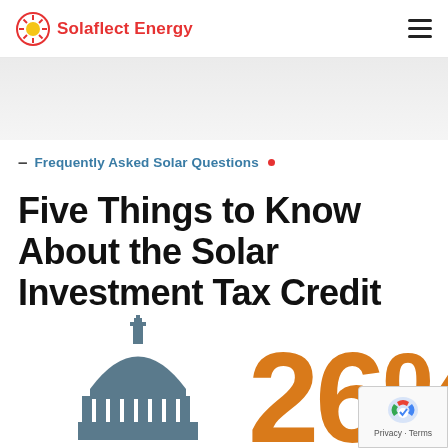Solaflect Energy
Frequently Asked Solar Questions
Five Things to Know About the Solar Investment Tax Credit
[Figure (infographic): Capitol building dome icon in dark slate blue on the left, and large orange '26%' text on the right, representing the 26% Solar Investment Tax Credit.]